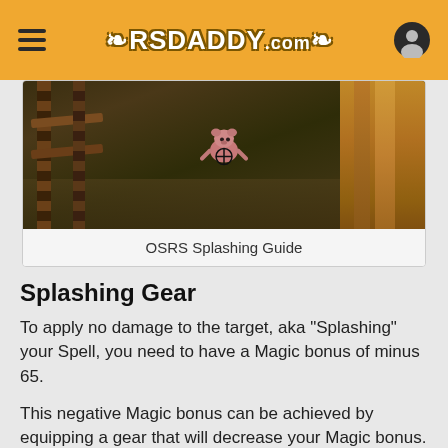RSDADDY.com
[Figure (screenshot): OSRS game screenshot showing a character splashing a spell in a dark outdoor environment with wooden fence on the left and wooden structure on the right]
OSRS Splashing Guide
Splashing Gear
To apply no damage to the target, aka "Splashing" your Spell, you need to have a Magic bonus of minus 65.
This negative Magic bonus can be achieved by equipping a gear that will decrease your Magic bonus.